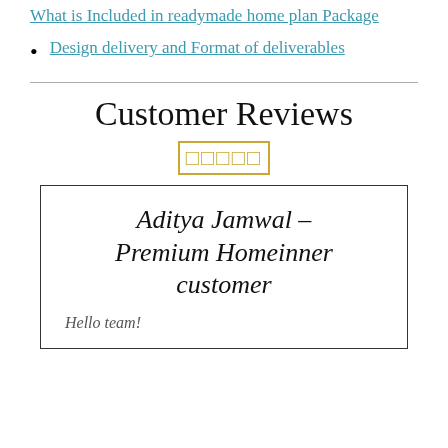What is Included in readymade home plan Package
Design delivery and Format of deliverables
Customer Reviews
[Figure (other): Five star rating icons displayed as outlined squares in gold/yellow color]
Aditya Jamwal – Premium Homeinner customer
Hello team!